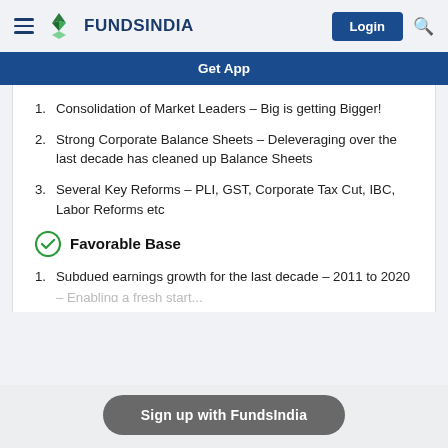FUNDSINDIA — Login
Get App
1. Consolidation of Market Leaders – Big is getting Bigger!
2. Strong Corporate Balance Sheets – Deleveraging over the last decade has cleaned up Balance Sheets
3. Several Key Reforms – PLI, GST, Corporate Tax Cut, IBC, Labor Reforms etc
Favorable Base
1. Subdued earnings growth for the last decade – 2011 to 2020
Sign up with FundsIndia